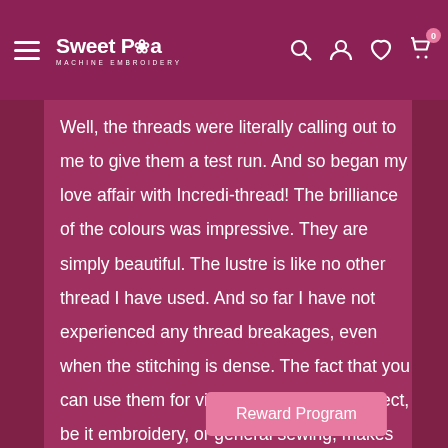Sweet Pea Machine Embroidery — navigation header with logo, search, account, wishlist, cart (0) icons
Well, the threads were literally calling out to me to give them a test run. And so began my love affair with Incredi-thread! The brilliance of the colours was impressive. They are simply beautiful. The lustre is like no other thread I have used. And so far I have not experienced any thread breakages, even when the stitching is dense. The fact that you can use them for virtually any sewing project, be it embroidery, or general sewing, makes them highly valuable to my thread collection. In fact, I have been so impressed with th... ve
Reward Program